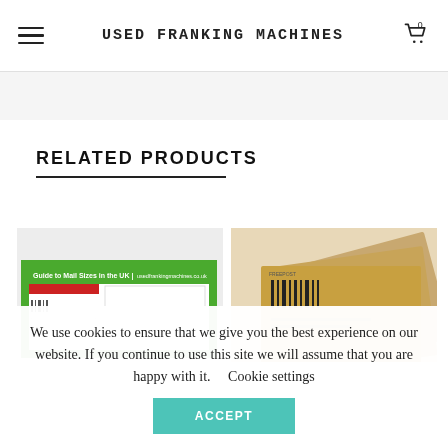USED FRANKING MACHINES
RELATED PRODUCTS
[Figure (photo): Product image showing a green-bordered UK mail sizes guide poster/chart]
[Figure (photo): Product image showing a stack of brown kraft paper envelopes/mailers with barcode markings]
We use cookies to ensure that we give you the best experience on our website. If you continue to use this site we will assume that you are happy with it.    Cookie settings
ACCEPT